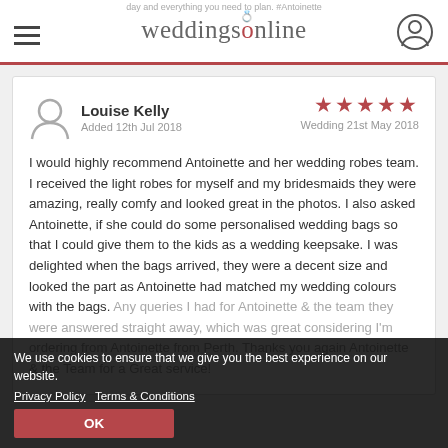weddingsonline
Louise Kelly
Added 12th Jul 2018
★★★★★
Wedding 21st May 2018
I would highly recommend Antoinette and her wedding robes team. I received the light robes for myself and my bridesmaids they were amazing, really comfy and looked great in the photos. I also asked Antoinette, if she could do some personalised wedding bags so that I could give them to the kids as a wedding keepsake. I was delighted when the bags arrived, they were a decent size and looked the part as Antoinette had matched my wedding colours with the bags. Any queries I had for Antoinette & the team they were answered straight away, which was great considering I'm ordering from Antoinette from Perth. Thanks you again Antoinette & the Team for a Great service!
We use cookies to ensure that we give you the best experience on our website.
Privacy Policy   Terms & Conditions
OK